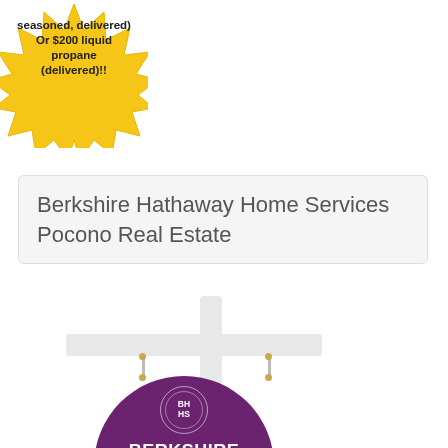[Figure (illustration): Yellow starburst badge with bold text: 'seasoned, delivered) Or $200 liquid propane (delivered)!!']
Berkshire Hathaway Home Services Pocono Real Estate
[Figure (logo): Berkshire Hathaway HomeServices real estate sign on white post with purple arched sign board showing BHHS logo, BERKSHIRE HATHAWAY HomeServices text in white]